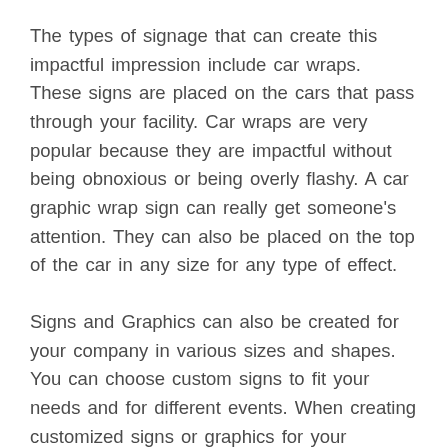The types of signage that can create this impactful impression include car wraps. These signs are placed on the cars that pass through your facility. Car wraps are very popular because they are impactful without being obnoxious or being overly flashy. A car graphic wrap sign can really get someone's attention. They can also be placed on the top of the car in any size for any type of effect.
Signs and Graphics can also be created for your company in various sizes and shapes. You can choose custom signs to fit your needs and for different events. When creating customized signs or graphics for your company, it is important that you get them created to fit your company's image or branding. A good graphic designer should be able to work with you closely in order to make sure the signage and artwork you select are not only visually striking but